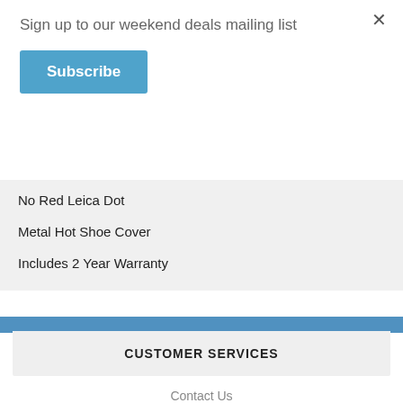Sign up to our weekend deals mailing list
Subscribe
No Red Leica Dot
Metal Hot Shoe Cover
Includes 2 Year Warranty
CUSTOMER SERVICES
Contact Us
Payment Options